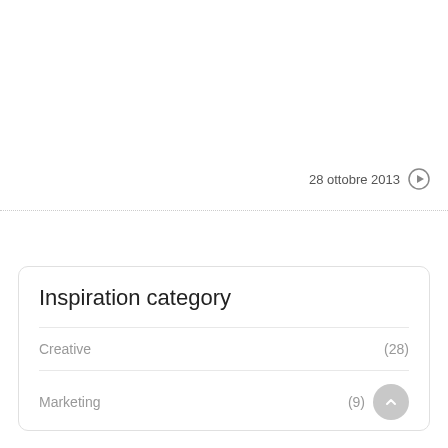28 ottobre 2013
Inspiration category
Creative (28)
Marketing (9)